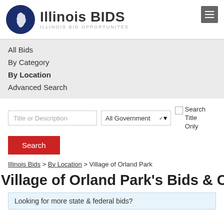[Figure (logo): Illinois BIDS logo with Illinois state outline in dark blue circle, text 'Illinois BIDS' and subtitle 'ILLINOIS BID OPPORTUNITES']
Illinois BIDS — ILLINOIS BID OPPORTUNITES
All Bids
By Category
By Location
Advanced Search
Title or Description | All Government ▾ | ☐ Search Title Only
Search
Illinois Bids > By Location > Village of Orland Park
Village of Orland Park's Bids & Contracts
Looking for more state & federal bids?